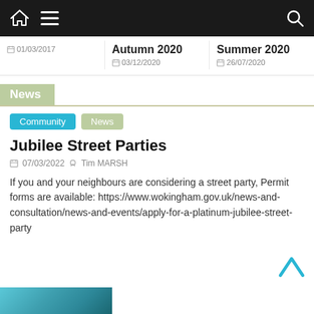Navigation bar with home icon, menu icon, and search icon
01/03/2017
Autumn 2020
03/12/2020
Summer 2020
26/07/2020
News
Community
News
Jubilee Street Parties
07/03/2022   Tim MARSH
If you and your neighbours are considering a street party, Permit forms are available: https://www.wokingham.gov.uk/news-and-consultation/news-and-events/apply-for-a-platinum-jubilee-street-party